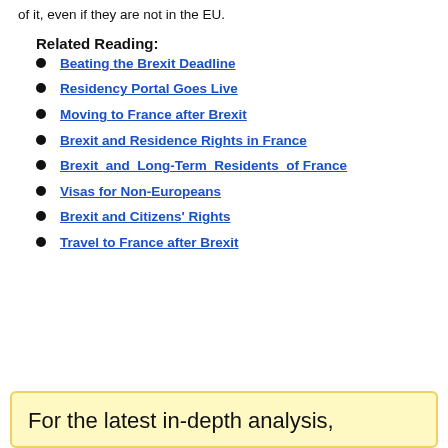of it, even if they are not in the EU.
Related Reading:
Beating the Brexit Deadline
Residency Portal Goes Live
Moving to France after Brexit
Brexit and Residence Rights in France
Brexit and Long-Term Residents of France
Visas for Non-Europeans
Brexit and Citizens' Rights
Travel to France after Brexit
For the latest in-depth analysis,